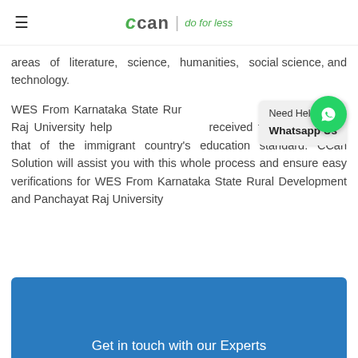≡  ccan | do for less
areas of literature, science, humanities, social science, and technology.
WES From Karnataka State Rural Development and Panchayat Raj University helps to evaluate the received formal degree to that of the immigrant country's education standard. CCan Solution will assist you with this whole process and ensure easy verifications for WES From Karnataka State Rural Development and Panchayat Raj University
Get in touch with our Experts